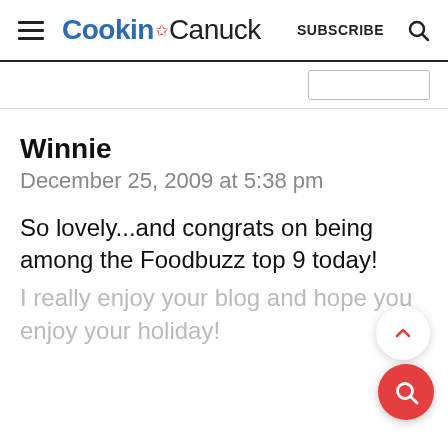Cookin Canuck — SUBSCRIBE
Winnie
December 25, 2009 at 5:38 pm
So lovely...and congrats on being among the Foodbuzz top 9 today!
I really enjoy your blog and hope you enjoy your holiday!